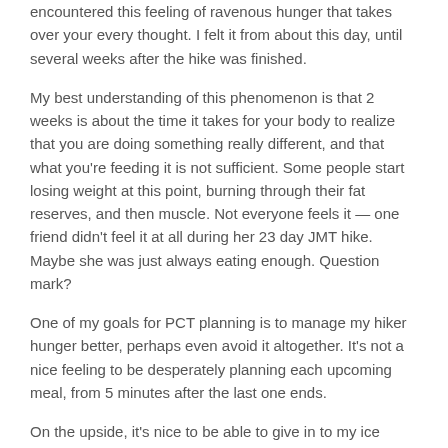encountered this feeling of ravenous hunger that takes over your every thought. I felt it from about this day, until several weeks after the hike was finished.
My best understanding of this phenomenon is that 2 weeks is about the time it takes for your body to realize that you are doing something really different, and that what you're feeding it is not sufficient. Some people start losing weight at this point, burning through their fat reserves, and then muscle. Not everyone feels it — one friend didn't feel it at all during her 23 day JMT hike. Maybe she was just always eating enough. Question mark?
One of my goals for PCT planning is to manage my hiker hunger better, perhaps even avoid it altogether. It's not a nice feeling to be desperately planning each upcoming meal, from 5 minutes after the last one ends.
On the upside, it's nice to be able to give in to my ice cream cravings, as often as I want...
Day 17 in pictures: